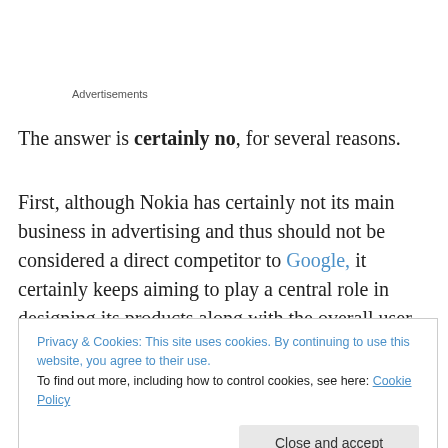Advertisements
The answer is certainly no, for several reasons.
First, although Nokia has certainly not its main business in advertising and thus should not be considered a direct competitor to Google, it certainly keeps aiming to play a central role in designing its products along with the overall user experience connected with them.
Privacy & Cookies: This site uses cookies. By continuing to use this website, you agree to their use. To find out more, including how to control cookies, see here: Cookie Policy
being fourth) also in emerging markets. Nokia also owns